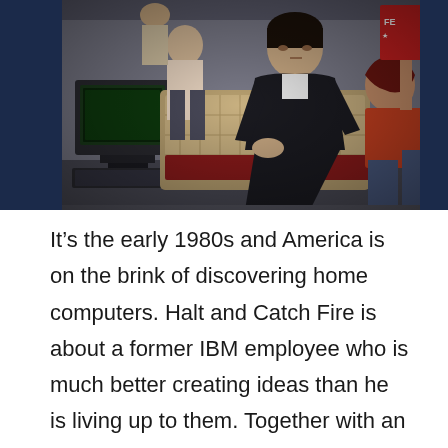[Figure (photo): A black and white photograph showing three young people in a 1980s-style setting with an old computer/monitor visible on the left side. A young man in dark clothing sits in the center looking at camera, with two other people visible on either side. The scene has dramatic lighting.]
It’s the early 1980s and America is on the brink of discovering home computers. Halt and Catch Fire is about a former IBM employee who is much better creating ideas than he is living up to them. Together with an engineer and a prodigy, this trio sets out to revolutionize the industry with brains, talent, and salesmanship. Of course, like every good